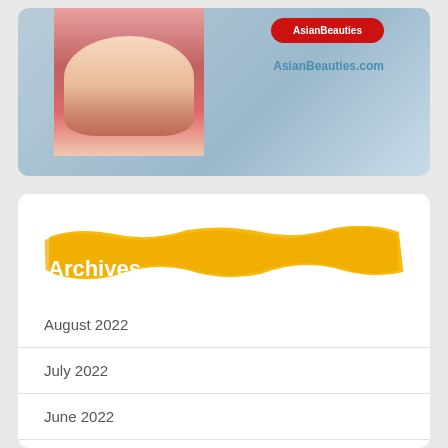[Figure (photo): Advertisement banner for AsianBeauties.com showing a woman in red clothing with website domain text and a red button]
Archives
August 2022
July 2022
June 2022
May 2022
April 2022
March 2022